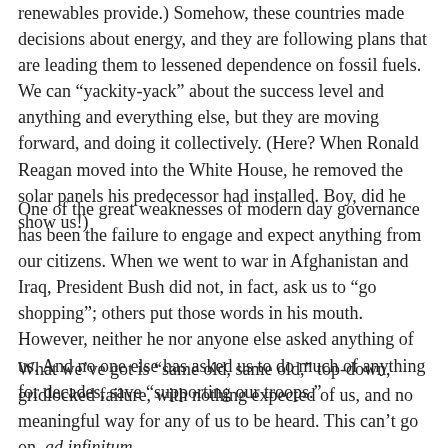renewables provide.) Somehow, these countries made decisions about energy, and they are following plans that are leading them to lessened dependence on fossil fuels. We can “yackity-yack” about the success level and anything and everything else, but they are moving forward, and doing it collectively. (Here? When Ronald Reagan moved into the White House, he removed the solar panels his predecessor had installed. Boy, did he show us!)
One of the great weaknesses of modern day governance has been the failure to engage and expect anything from our citizens. When we went to war in Afghanistan and Iraq, President Bush did not, in fact, ask us to “go shopping”; others put those words in his mouth. However, neither he nor anyone else asked anything of us. And no one else has asked us to do much of anything for decades, save “supporting our troops.”
What we’ve got is “same old, same old,” top-down, gridlocked failure, with nothing expected of us, and no meaningful way for any of us to be heard. This can’t go on, ad infinitum.